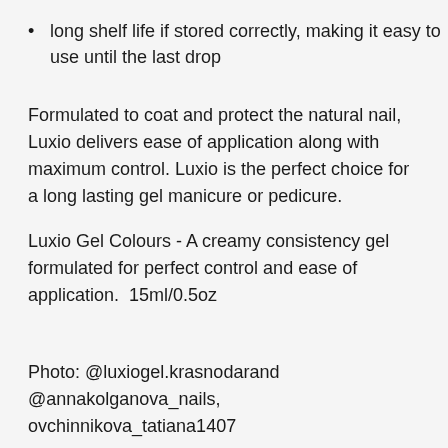long shelf life if stored correctly, making it easy to use until the last drop
Formulated to coat and protect the natural nail, Luxio delivers ease of application along with maximum control. Luxio is the perfect choice for a long lasting gel manicure or pedicure.
Luxio Gel Colours - A creamy consistency gel formulated for perfect control and ease of application. 15ml/0.5oz
Photo: @luxiogel.krasnodarand @annakolganova_nails, ovchinnikova_tatiana1407
Share this Product